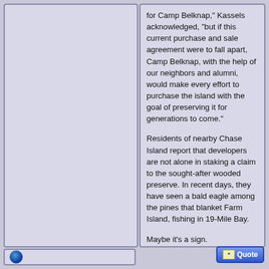for Camp Belknap," Kassels acknowledged, "but if this current purchase and sale agreement were to fall apart, Camp Belknap, with the help of our neighbors and alumni, would make every effort to purchase the island with the goal of preserving it for generations to come."
Residents of nearby Chase Island report that developers are not alone in staking a claim to the sought-after wooded preserve. In recent days, they have seen a bald eagle among the pines that blanket Farm Island, fishing in 19-Mile Bay.
Maybe it’s a sign.
(Eileen McNamara, a former Pulitzer Prize winning columnist for the “Boston Globe,” is the director of the journalism program at Brandeis University. She lives in Moultonborough.)